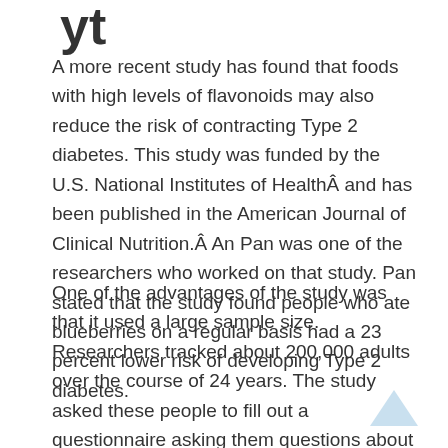…
A more recent study has found that foods with high levels of flavonoids may also reduce the risk of contracting Type 2 diabetes. This study was funded by the U.S. National Institutes of HealthÂ and has been published in the American Journal of Clinical Nutrition.Â An Pan was one of the researchers who worked on that study. Pan stated that the study found people who ate blueberries on a regular basis had a 23 percent lower risk of developing Type 2 diabetes.
One of the advantages of the study was that it used a large sample size. Researchers tracked about 200,000 adults over the course of 24 years. The study asked these people to fill out a questionnaire asking them questions about their dietary habits over the course of their life. They asked the